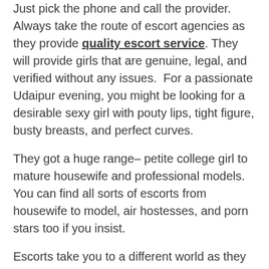Just pick the phone and call the provider. Always take the route of escort agencies as they provide quality escort service. They will provide girls that are genuine, legal, and verified without any issues.  For a passionate Udaipur evening, you might be looking for a desirable sexy girl with pouty lips, tight figure, busty breasts, and perfect curves.
They got a huge range– petite college girl to mature housewife and professional models. You can find all sorts of escorts from housewife to model, air hostesses, and porn stars too if you insist.
Escorts take you to a different world as they are in all types and the sexy girls seduce with enchanting breasts and butt sizes. So, in Udaipur, your dream of bedding a hot girl with a spectacular and eye-catching breast is always answered in the most fabulous way.
Your fantasy could be a tit fuck. After booking the deal take